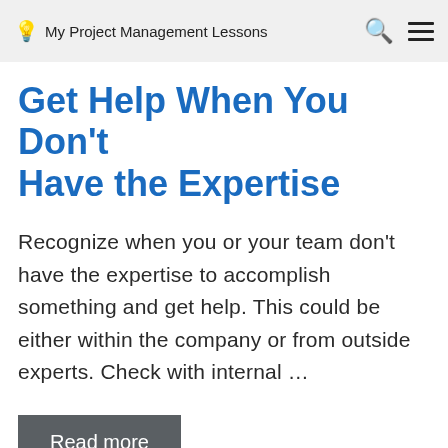My Project Management Lessons
Get Help When You Don't Have the Expertise
Recognize when you or your team don't have the expertise to accomplish something and get help. This could be either within the company or from outside experts. Check with internal …
Read more